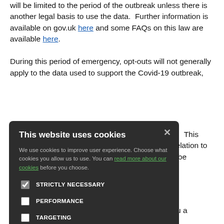will be limited to the period of the outbreak unless there is another legal basis to use the data. Further information is available on gov.uk here and some FAQs on this law are available here.
During this period of emergency, opt-outs will not generally apply to the data used to support the Covid-19 outbreak, [...]tion. This [...] in relation to [...] will be [...] under these laws [...] also not apply. [...] ect Access [...] quests (FOIs) [...] r efforts on
[Figure (screenshot): Cookie consent modal overlay with dark background. Title: 'This website uses cookies'. Body text: 'We use cookies to improve user experience. Choose what cookies you allow us to use. You can read more about our cookies before you choose.' Checkboxes for: STRICTLY NECESSARY (checked), PERFORMANCE, TARGETING, FUNCTIONALITY. Buttons: ACCEPT ALL (green), DECLINE ALL (outline).]
During this period of emergency we may offer you a